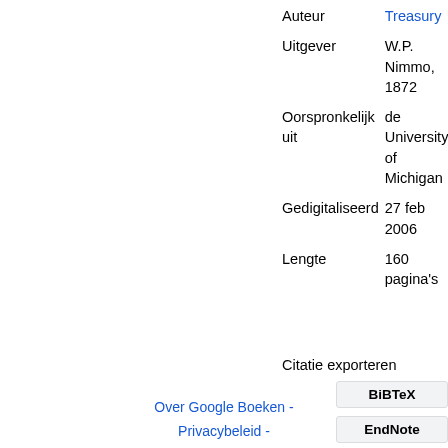| Field | Value |
| --- | --- |
| Auteur | Treasury |
| Uitgever | W.P. Nimmo, 1872 |
| Oorspronkelijk uit | de University of Michigan |
| Gedigitaliseerd | 27 feb 2006 |
| Lengte | 160 pagina's |
Citatie exporteren
BiBTeX
EndNote
RefMan
Over Google Boeken - Privacybeleid -